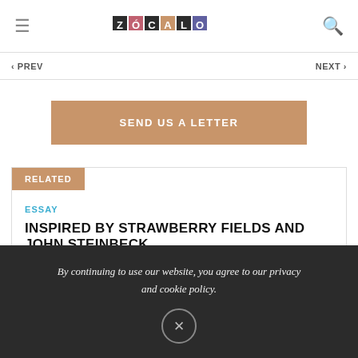≡  ZÓCALO  🔍
‹ PREV   NEXT ›
SEND US A LETTER
RELATED
ESSAY
INSPIRED BY STRAWBERRY FIELDS AND JOHN STEINBECK
By continuing to use our website, you agree to our privacy and cookie policy.